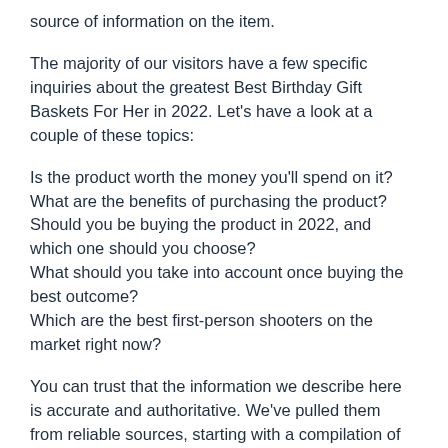source of information on the item.
The majority of our visitors have a few specific inquiries about the greatest Best Birthday Gift Baskets For Her in 2022. Let's have a look at a couple of these topics:
Is the product worth the money you'll spend on it?
What are the benefits of purchasing the product?
Should you be buying the product in 2022, and which one should you choose?
What should you take into account once buying the best outcome?
Which are the best first-person shooters on the market right now?
You can trust that the information we describe here is accurate and authoritative. We've pulled them from reliable sources, starting with a compilation of popular forums and websites and then direct